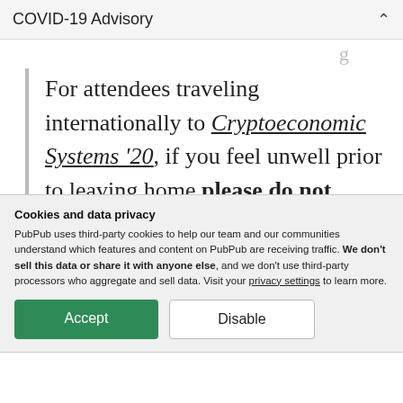COVID-19 Advisory
For attendees traveling internationally to Cryptoeconomic Systems '20, if you feel unwell prior to leaving home please do not travel. We encourage all potential travelers to continue to monitor MIT Medical's website for updates on COVID-19.
Cookies and data privacy
PubPub uses third-party cookies to help our team and our communities understand which features and content on PubPub are receiving traffic. We don't sell this data or share it with anyone else, and we don't use third-party processors who aggregate and sell data. Visit your privacy settings to learn more.